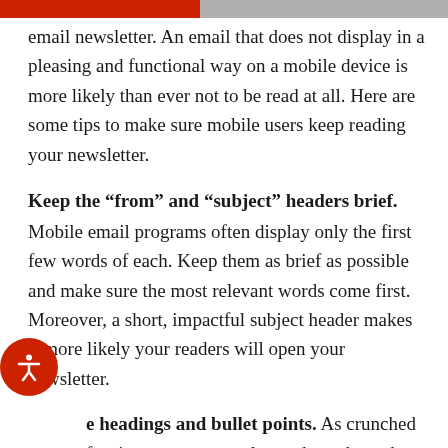[colored bar header]
email newsletter. An email that does not display in a pleasing and functional way on a mobile device is more likely than ever not to be read at all. Here are some tips to make sure mobile users keep reading your newsletter.
Keep the “from” and “subject” headers brief.
Mobile email programs often display only the first few words of each. Keep them as brief as possible and make sure the most relevant words come first. Moreover, a short, impactful subject header makes it more likely your readers will open your newsletter.
Use headings and bullet points. As crunched for time as most people are these days, the mobile